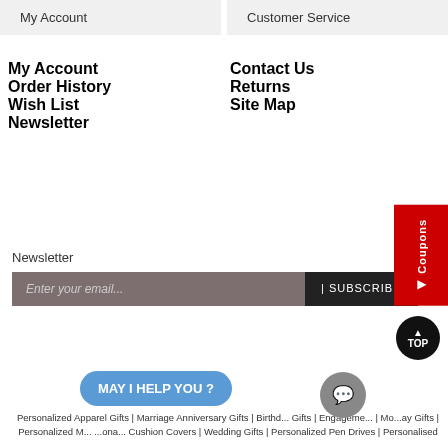My Account
Customer Service
My Account
Order History
Wish List
Newsletter
Contact Us
Returns
Site Map
Newsletter
Enter your email...
| SUBSCRIBE
Personalized Apparel Gifts | Marriage Anniversary Gifts | Birthday Gifts | Engagement ... | Mo...ay Gifts | Personalized M... ...ona... cushion Covers | Wedding Gifts | Personalized Pen Drives | Personalised